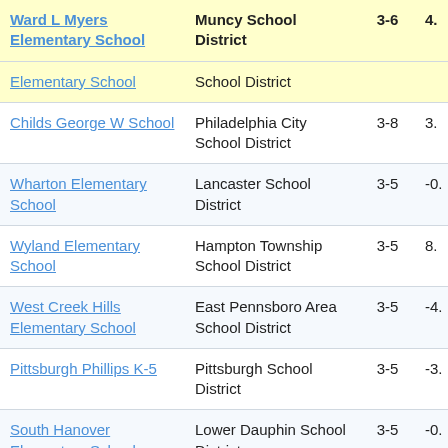| School | District | Grades | Score |
| --- | --- | --- | --- |
| Ward L Myers Elementary School | Muncy School District | 3-6 | 4. |
| Elementary School | School District |  |  |
| Childs George W School | Philadelphia City School District | 3-8 | 3. |
| Wharton Elementary School | Lancaster School District | 3-5 | -0. |
| Wyland Elementary School | Hampton Township School District | 3-5 | 8. |
| West Creek Hills Elementary School | East Pennsboro Area School District | 3-5 | -4. |
| Pittsburgh Phillips K-5 | Pittsburgh School District | 3-5 | -3. |
| South Hanover Elementary School | Lower Dauphin School District | 3-5 | -0. |
| (Downingtown...) |  |  |  |